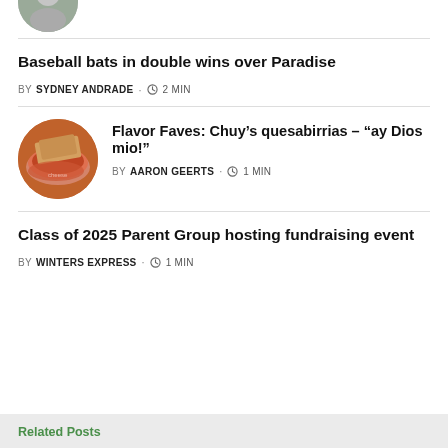[Figure (photo): Partial circular profile/thumbnail image at top of page]
Baseball bats in double wins over Paradise
BY SYDNEY ANDRADE · 2 MIN
[Figure (photo): Circular thumbnail of a bowl of quesabirrias with melted cheese]
Flavor Faves: Chuy’s quesabirrias – “ay Dios mio!”
BY AARON GEERTS · 1 MIN
Class of 2025 Parent Group hosting fundraising event
BY WINTERS EXPRESS · 1 MIN
Related Posts